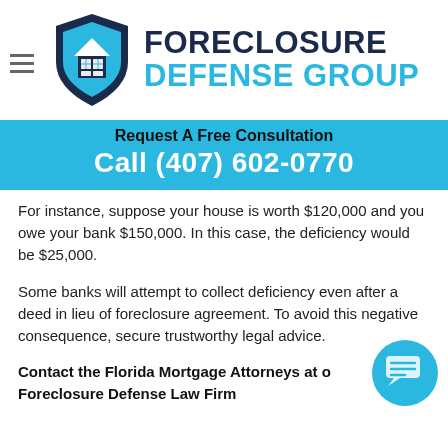[Figure (logo): Foreclosure Defense Group logo with shield icon in blue tones, house and window symbols inside]
FORECLOSURE DEFENSE GROUP
Request A Free Consultation
Call (407) 602-0770
For instance, suppose your house is worth $120,000 and you owe your bank $150,000. In this case, the deficiency would be $25,000.
Some banks will attempt to collect deficiency even after a deed in lieu of foreclosure agreement. To avoid this negative consequence, secure trustworthy legal advice.
Contact the Florida Mortgage Attorneys at our Foreclosure Defense Law Firm